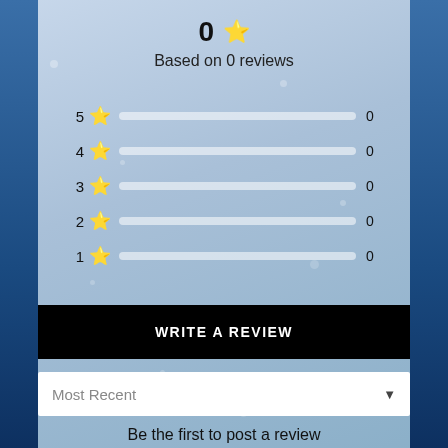0 ★
Based on 0 reviews
[Figure (infographic): Star rating breakdown showing 5 rows (5 star to 1 star), each with a star icon, an empty progress bar, and count of 0]
WRITE A REVIEW
Most Recent
Be the first to post a review